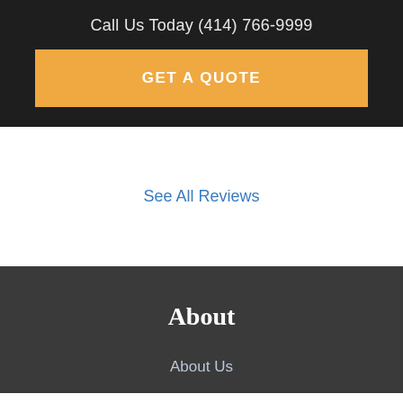Call Us Today (414) 766-9999
GET A QUOTE
See All Reviews
About
About Us